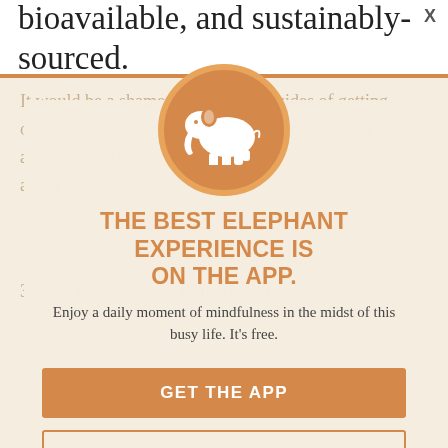bioavailable, and sustainably-sourced.
[Figure (screenshot): App download modal dialog with elephant logo, orange branding, title 'THE BEST ELEPHANT EXPERIENCE IS ON THE APP.', subtitle text, and two buttons: GET THE APP and OPEN IN APP]
THE BEST ELEPHANT EXPERIENCE IS ON THE APP.
Enjoy a daily moment of mindfulness in the midst of this busy life. It's free.
GET THE APP
OPEN IN APP